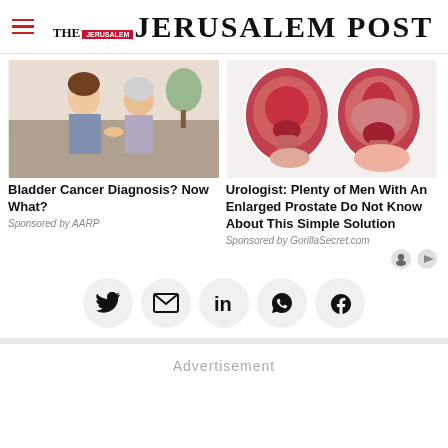THE JERUSALEM POST
[Figure (photo): Two women, one younger and one elderly, sitting together in a warm domestic setting]
Bladder Cancer Diagnosis? Now What?
Sponsored by AARP
[Figure (illustration): Medical illustration showing enlarged prostate anatomy cross-sections]
Urologist: Plenty of Men With An Enlarged Prostate Do Not Know About This Simple Solution
Sponsored by GorillaSecret.com
[Figure (infographic): Social sharing icons: Twitter, Email, LinkedIn, WhatsApp, Facebook]
Advertisement